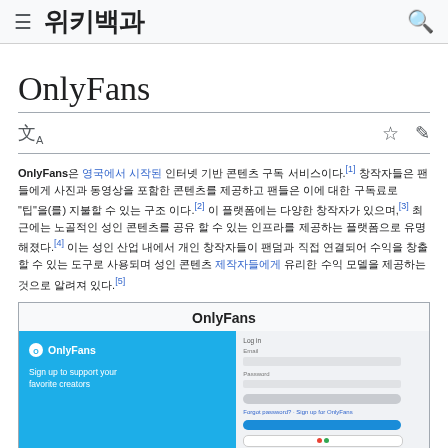위키백과
OnlyFans
OnlyFans은 영국에서 시작된 인터넷 기반 콘텐츠 구독 서비스이다.[1] 창작자들은 팬들에게 사진과 동영상을 포함한 콘텐츠를 제공하고 팬들은 이에 대한 구독료로 "팁"을(를) 지불할 수 있는 구조 이다.[2] 이 플랫폼에는 다양한 창작자가 있으며,[3] 최근에는 노골적인 성인 콘텐츠를 공유 할 수 있는 인프라를 제공하는 플랫폼으로 유명해졌다.[4] 이는 성인 산업 내에서 개인 창작자들이 팬덤과 직접 연결되어 수익을 창출할 수 있는 도구로 사용되며 성인 콘텐츠 제작자들에게 유리한 수익 모델을 제공하는 것으로 알려져 있다.[5]
[Figure (screenshot): OnlyFans Wikipedia infobox showing the OnlyFans website interface with blue signup panel on left and login form on right]